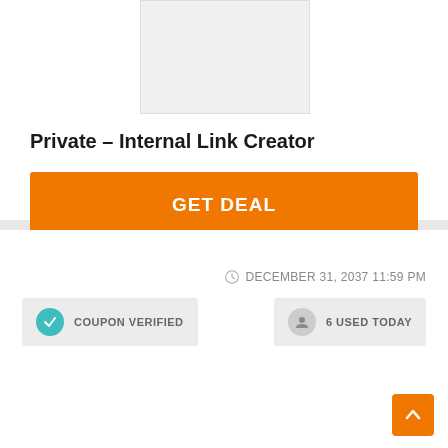[Figure (other): Product image placeholder (white/light gray box)]
Private – Internal Link Creator
GET DEAL
DECEMBER 31, 2037 11:59 PM
COUPON VERIFIED
6 USED TODAY
[Figure (other): Sale image box with SALE text in orange]